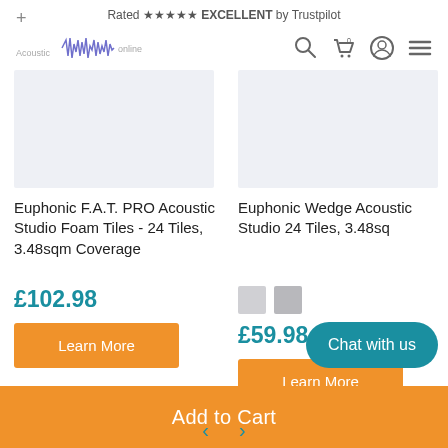Rated ★★★★★ EXCELLENT by Trustpilot
[Figure (logo): Acoustic tiles online store logo with waveform graphic and navigation icons (search, cart, user, menu)]
[Figure (photo): Product image placeholder for Euphonic F.A.T. PRO Acoustic Studio Foam Tiles]
Euphonic F.A.T. PRO Acoustic Studio Foam Tiles - 24 Tiles, 3.48sqm Coverage
£102.98
[Figure (photo): Product image placeholder for Euphonic Wedge Acoustic Studio Foam Tiles]
Euphonic Wedge Acoustic Studio 24 Tiles, 3.48sq
£59.98
Add to Cart